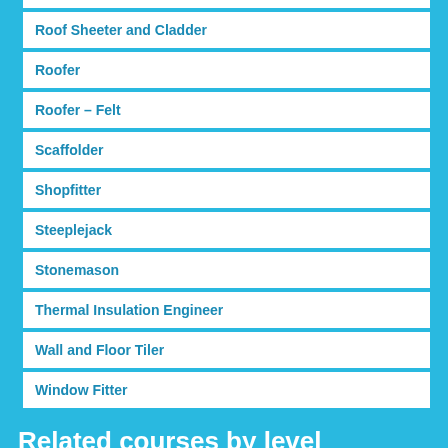Roof Sheeter and Cladder
Roofer
Roofer – Felt
Scaffolder
Shopfitter
Steeplejack
Stonemason
Thermal Insulation Engineer
Wall and Floor Tiler
Window Fitter
Related courses by level
NC and NQ and Access
HNC and HND